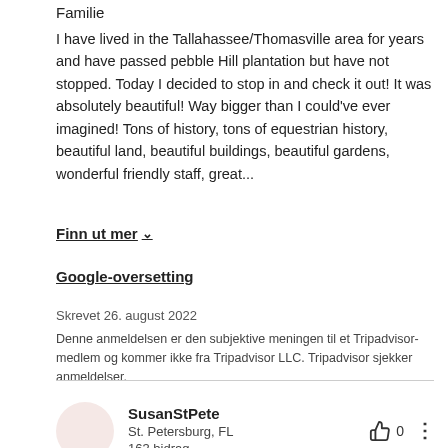Familie
I have lived in the Tallahassee/Thomasville area for years and have passed pebble Hill plantation but have not stopped. Today I decided to stop in and check it out! It was absolutely beautiful! Way bigger than I could've ever imagined! Tons of history, tons of equestrian history, beautiful land, beautiful buildings, beautiful gardens, wonderful friendly staff, great...
Finn ut mer ∨
Google-oversetting
Skrevet 26. august 2022
Denne anmeldelsen er den subjektive meningen til et Tripadvisor-medlem og kommer ikke fra Tripadvisor LLC. Tripadvisor sjekker anmeldelser.
SusanStPete
St. Petersburg, FL
163 bidrag